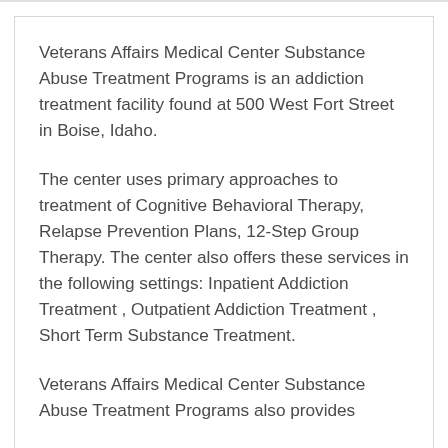Veterans Affairs Medical Center Substance Abuse Treatment Programs is an addiction treatment facility found at 500 West Fort Street in Boise, Idaho.
The center uses primary approaches to treatment of Cognitive Behavioral Therapy, Relapse Prevention Plans, 12-Step Group Therapy. The center also offers these services in the following settings: Inpatient Addiction Treatment , Outpatient Addiction Treatment , Short Term Substance Treatment.
Veterans Affairs Medical Center Substance Abuse Treatment Programs also provides